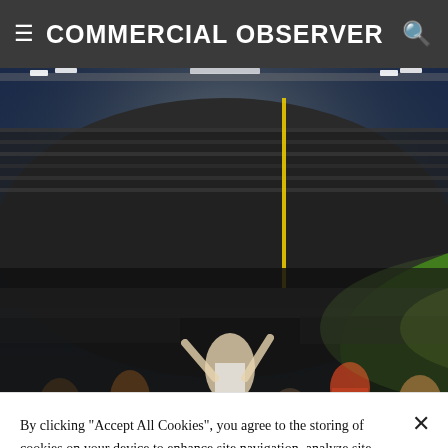COMMERCIAL OBSERVER
[Figure (photo): Aerial night view of a packed baseball stadium with fans in the foreground cheering, field visible in the background under bright lights]
COLUMNISTS | NEW YORK CITY
By clicking "Accept All Cookies", you agree to the storing of cookies on your device to enhance site navigation, analyze site usage, and assist in our marketing efforts.
Cookies Settings
Accept All Cookies